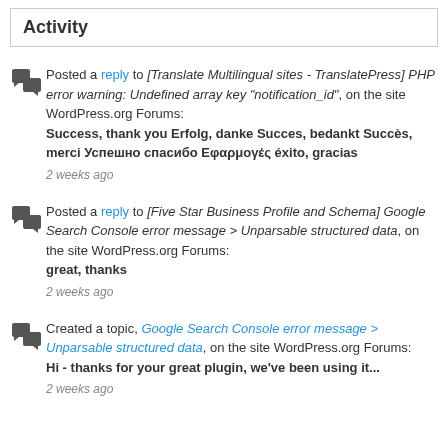Activity
Posted a reply to [Translate Multilingual sites - TranslatePress] PHP error warning: Undefined array key "notification_id", on the site WordPress.org Forums: Success, thank you Erfolg, danke Succes, bedankt Succès, merci Успешно спасибо Εφαρμογές éxito, gracias — 2 weeks ago
Posted a reply to [Five Star Business Profile and Schema] Google Search Console error message > Unparsable structured data, on the site WordPress.org Forums: great, thanks — 2 weeks ago
Created a topic, Google Search Console error message > Unparsable structured data, on the site WordPress.org Forums: Hi - thanks for your great plugin, we've been using it... — 2 weeks ago